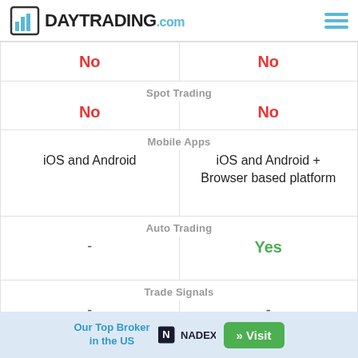DAYTRADING.com
|  |  |
| --- | --- |
| No | No |
| Spot Trading |  |
| No | No |
| Mobile Apps |  |
| iOS and Android | iOS and Android + Browser based platform |
| Auto Trading |  |
| - | Yes |
| Trade Signals |  |
| - | - |
| VPS Hosting |  |
| No | No |
Our Top Broker in the US
[Figure (logo): Nadex logo]
» Visit